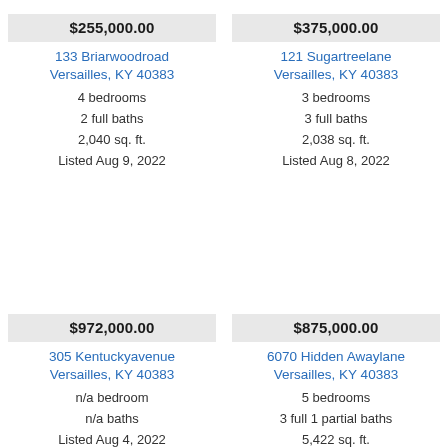$255,000.00
133 Briarwoodroad
Versailles, KY 40383
4 bedrooms
2 full baths
2,040 sq. ft.
Listed Aug 9, 2022
$375,000.00
121 Sugartreelane
Versailles, KY 40383
3 bedrooms
3 full baths
2,038 sq. ft.
Listed Aug 8, 2022
$972,000.00
305 Kentuckyavenue
Versailles, KY 40383
n/a bedroom
n/a baths
Listed Aug 4, 2022
$875,000.00
6070 Hidden Awaylane
Versailles, KY 40383
5 bedrooms
3 full 1 partial baths
5,422 sq. ft.
Listed Aug 3, 2022